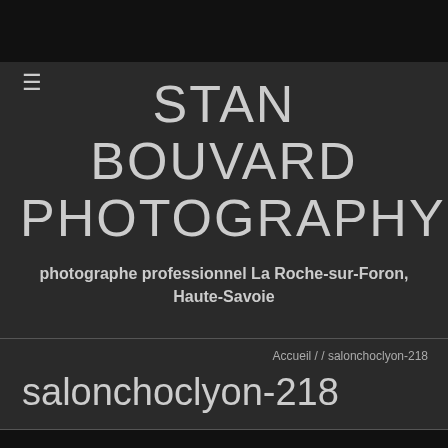STAN BOUVARD PHOTOGRAPHY
photographe professionnel La Roche-sur-Foron, Haute-Savoie
Accueil / / salonchoclyon-218
salonchoclyon-218